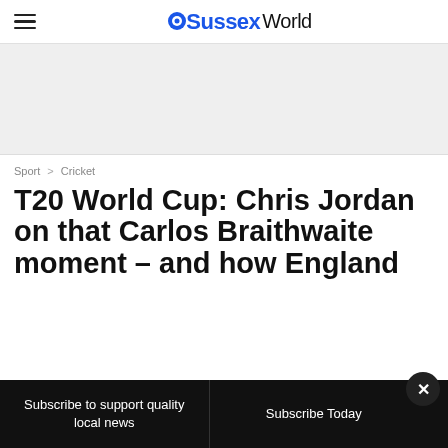OSussexWorld
[Figure (other): Advertisement banner placeholder (gray background)]
Sport > Cricket
T20 World Cup: Chris Jordan on that Carlos Braithwaite moment – and how England
Subscribe to support quality local news
Subscribe Today